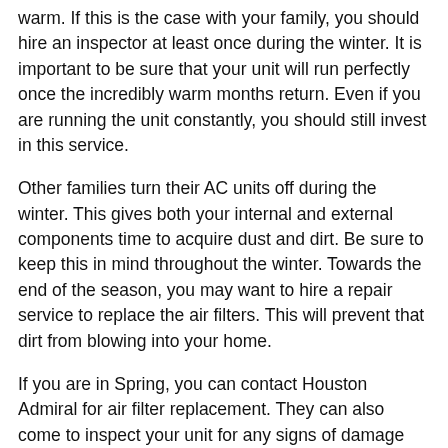warm. If this is the case with your family, you should hire an inspector at least once during the winter. It is important to be sure that your unit will run perfectly once the incredibly warm months return. Even if you are running the unit constantly, you should still invest in this service.
Other families turn their AC units off during the winter. This gives both your internal and external components time to acquire dust and dirt. Be sure to keep this in mind throughout the winter. Towards the end of the season, you may want to hire a repair service to replace the air filters. This will prevent that dirt from blowing into your home.
If you are in Spring, you can contact Houston Admiral for air filter replacement. They can also come to inspect your unit for any signs of damage from constant use. You can reach their friendly office staff by calling 281-876-9400. You can also learn more about their full range of air conditioning services by visiting their website.